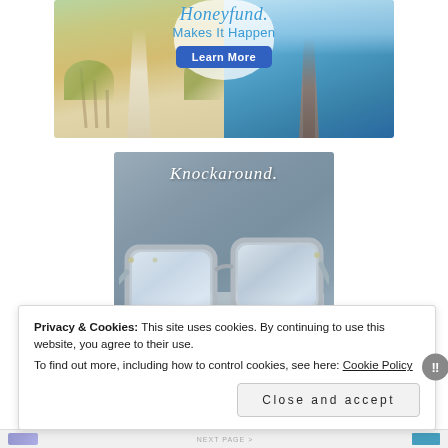[Figure (photo): Honeyfund advertisement banner with beach boardwalk imagery on left and ocean pier on right. Center text reads 'Honeyfund. Makes It Happen' with a blue 'Learn More' button.]
[Figure (photo): Knockaround sunglasses advertisement showing white/silver mirrored sunglasses on a light surface with the brand name 'Knockaround.' in script at top and 'SUNGLASSES' text at bottom.]
Privacy & Cookies: This site uses cookies. By continuing to use this website, you agree to their use.
To find out more, including how to control cookies, see here: Cookie Policy
Close and accept